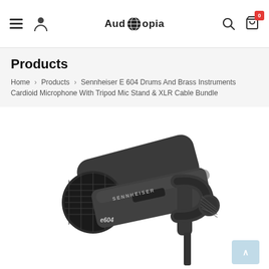Audiotopia — navigation header with hamburger menu, user icon, logo, search, and cart icons
Products
Home > Products > Sennheiser E 604 Drums And Brass Instruments Cardioid Microphone With Tripod Mic Stand & XLR Cable Bundle
[Figure (photo): Close-up photo of a Sennheiser e604 cardioid microphone mounted on a clip/stand, showing the microphone body with mesh grille, the Sennheiser branding text along the body, and the mounting hardware. The microphone and stand are dark charcoal/grey in color against a white background.]